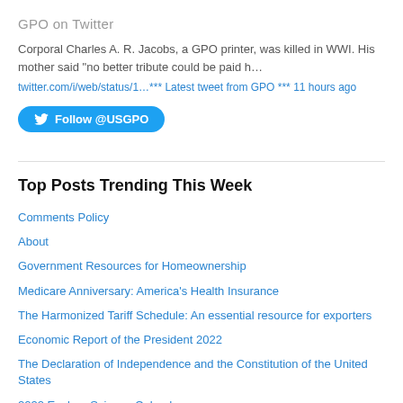GPO on Twitter
Corporal Charles A. R. Jacobs, a GPO printer, was killed in WWI. His mother said "no better tribute could be paid h…
twitter.com/i/web/status/1…*** Latest tweet from GPO *** 11 hours ago
Follow @USGPO
Top Posts Trending This Week
Comments Policy
About
Government Resources for Homeownership
Medicare Anniversary: America's Health Insurance
The Harmonized Tariff Schedule: An essential resource for exporters
Economic Report of the President 2022
The Declaration of Independence and the Constitution of the United States
2022 Explore Science Calendar